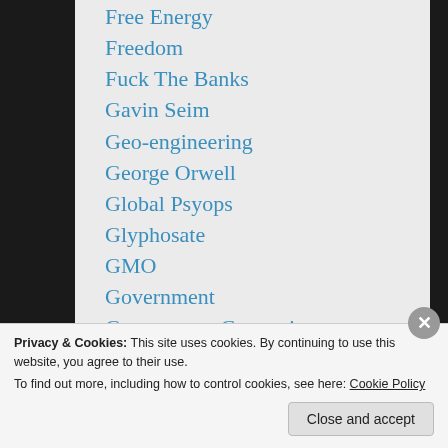Free Energy
Freedom
Fuck The Banks
Gavin Seim
Geo-engineering
George Orwell
Global Psyops
Glyphosate
GMO
Government
Government Corruption
Halloween
Healing Trauma
Humor
Privacy & Cookies: This site uses cookies. By continuing to use this website, you agree to their use.
To find out more, including how to control cookies, see here: Cookie Policy
Close and accept